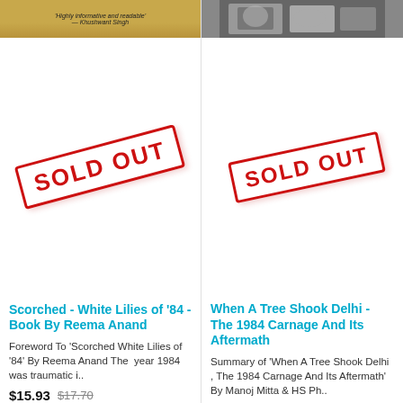[Figure (photo): Top portion of book cover for Scorched White Lilies of '84, golden/amber colored background with text]
[Figure (other): SOLD OUT stamp in red, rotated, overlaid on white product area for left book]
Scorched - White Lilies of '84 - Book By Reema Anand
Foreword To 'Scorched White Lilies of '84' By Reema Anand The  year 1984 was traumatic i..
$15.93  $17.70
[Figure (photo): Top portion of book cover for When A Tree Shook Delhi, black and white photograph of people]
[Figure (other): SOLD OUT stamp in red, rotated, overlaid on white product area for right book]
When A Tree Shook Delhi - The 1984 Carnage And Its Aftermath
Summary of 'When A Tree Shook Delhi , The 1984 Carnage And Its Aftermath' By Manoj Mitta & HS Ph..